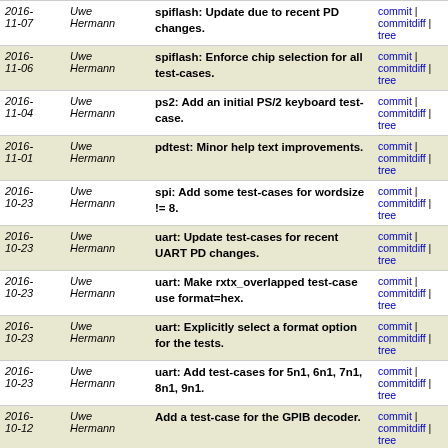| Date | Author | Message | Links |
| --- | --- | --- | --- |
| 2016-11-07 | Uwe Hermann | spiflash: Update due to recent PD changes. | commit | commitdiff | tree |
| 2016-11-06 | Uwe Hermann | spiflash: Enforce chip selection for all test-cases. | commit | commitdiff | tree |
| 2016-11-04 | Uwe Hermann | ps2: Add an initial PS/2 keyboard test-case. | commit | commitdiff | tree |
| 2016-11-01 | Uwe Hermann | pdtest: Minor help text improvements. | commit | commitdiff | tree |
| 2016-10-23 | Uwe Hermann | spi: Add some test-cases for wordsize != 8. | commit | commitdiff | tree |
| 2016-10-23 | Uwe Hermann | uart: Update test-cases for recent UART PD changes. | commit | commitdiff | tree |
| 2016-10-23 | Uwe Hermann | uart: Make rxtx_overlapped test-case use format=hex. | commit | commitdiff | tree |
| 2016-10-23 | Uwe Hermann | uart: Explicitly select a format option for the tests. | commit | commitdiff | tree |
| 2016-10-23 | Uwe Hermann | uart: Add test-cases for 5n1, 6n1, 7n1, 8n1, 9n1. | commit | commitdiff | tree |
| 2016-10-12 | Uwe Hermann | Add a test-case for the GPIB decoder. | commit | commitdiff | tree |
| 2016-09-24 | Chris | midi: Add 3 new test-cases, update existing ones. | commit | commitdiff | tree |
| 2016-09-24 | Chris | midi: chromatic_notes in list.py was off by 1 octave | commit | commitdiff | tree |
| 2016- | Uwe | uart: Add a test-case for | commit | commitdiff | tree |